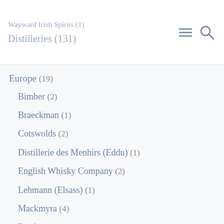Wayward Irish Spirits (1)
Distilleries (131)
Europe (19)
Bimber (2)
Braeckman (1)
Cotswolds (2)
Distillerie des Menhirs (Eddu) (1)
English Whisky Company (2)
Lehmann (Elsass) (1)
Mackmyra (4)
Penderyn (1)
Smögen (1)
St. Kilian (1)
Warenghem (Armorik) (5)